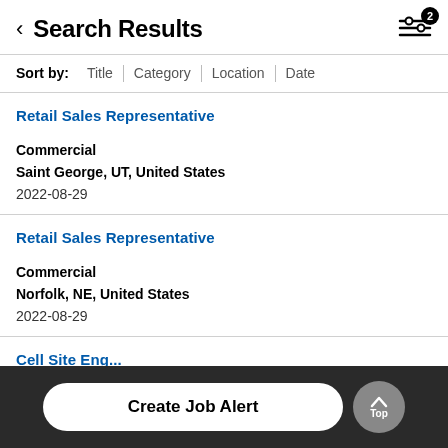Search Results
Sort by: Title | Category | Location | Date
Retail Sales Representative
Commercial
Saint George, UT, United States
2022-08-29
Retail Sales Representative
Commercial
Norfolk, NE, United States
2022-08-29
Cell Site Eng...
Create Job Alert